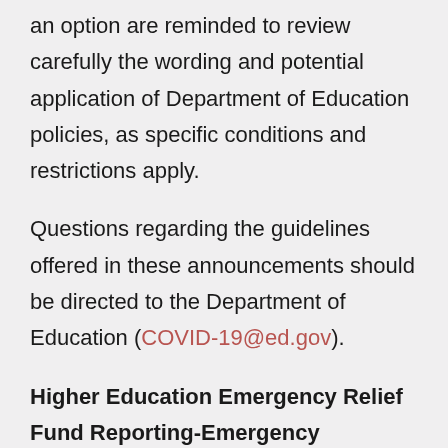an option are reminded to review carefully the wording and potential application of Department of Education policies, as specific conditions and restrictions apply.
Questions regarding the guidelines offered in these announcements should be directed to the Department of Education (COVID-19@ed.gov).
Higher Education Emergency Relief Fund Reporting-Emergency Financial Aid Grants to Students. On May 6, 2020, the Office of Postsecondary Education at the United States Department of Education published